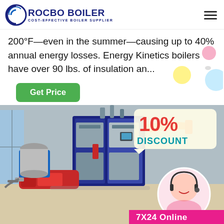ROCBO BOILER — COST-EFFECTIVE BOILER SUPPLIER
200°F—even in the summer—causing up to 40% annual energy losses. Energy Kinetics boilers have over 90 lbs. of insulation an...
Get Price
[Figure (photo): Industrial boiler unit (blue and silver cabinet design with red burner assembly) in a factory setting, with a 10% DISCOUNT promotional badge overlay and a customer service agent portrait circle, and '7X24 Online' text at the bottom right.]